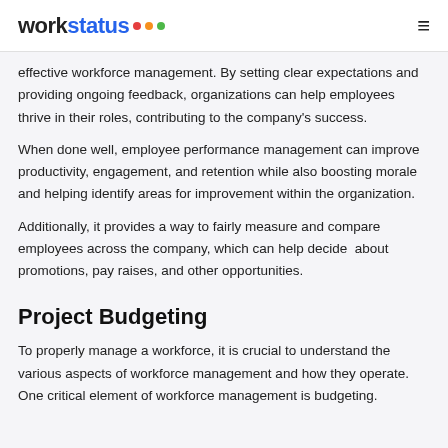workstatus
effective workforce management. By setting clear expectations and providing ongoing feedback, organizations can help employees thrive in their roles, contributing to the company's success.
When done well, employee performance management can improve productivity, engagement, and retention while also boosting morale and helping identify areas for improvement within the organization.
Additionally, it provides a way to fairly measure and compare employees across the company, which can help decide  about promotions, pay raises, and other opportunities.
Project Budgeting
To properly manage a workforce, it is crucial to understand the various aspects of workforce management and how they operate. One critical element of workforce management is budgeting.